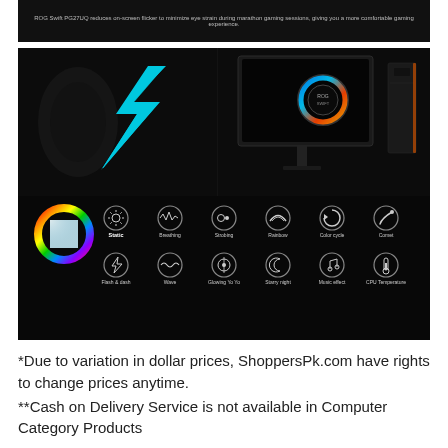ROG Swift PG27UQ reduces on-screen flicker to minimize eye strain during marathon gaming sessions, giving you a more comfortable gaming experience.
[Figure (photo): ASUS ROG gaming products collage on dark background showing ROG logo in cyan/teal, gaming monitors with RGB glow, keyboard, mouse, and ASUS AURA Sync lighting modes including a color wheel and 12 lighting effect icons: Static, Breathing, Strobing, Rainbow, Color cycle, Comet, Flash & dash, Wave, Glowing Yo Yo, Starry night, Music effect, CPU Temperature]
*Due to variation in dollar prices, ShoppersPk.com have rights to change prices anytime.
**Cash on Delivery Service is not available in Computer Category Products